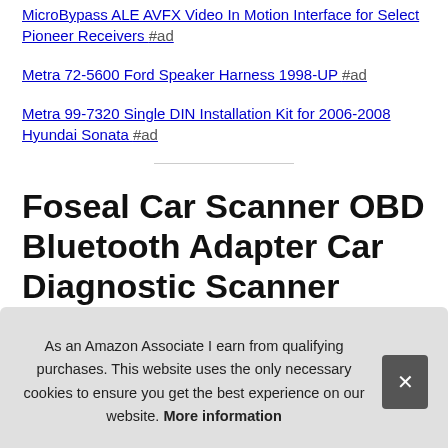MicroBypass ALE AVFX Video In Motion Interface for Select Pioneer Receivers #ad
Metra 72-5600 Ford Speaker Harness 1998-UP #ad
Metra 99-7320 Single DIN Installation Kit for 2006-2008 Hyundai Sonata #ad
Foseal Car Scanner OBD Bluetooth Adapter Car Diagnostic Scanner Code Reader Check Engine Light for An...
As an Amazon Associate I earn from qualifying purchases. This website uses the only necessary cookies to ensure you get the best experience on our website. More information